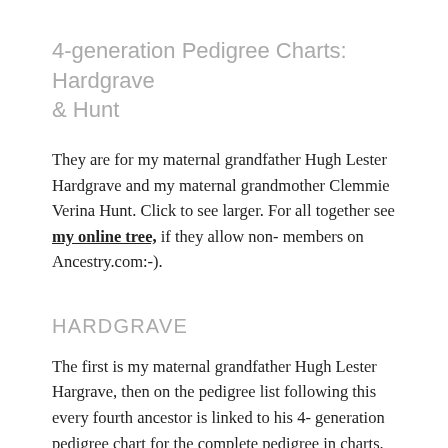4-generation Pedigree Charts: Hardgrave & Hunt
They are for my maternal grandfather Hugh Lester Hardgrave and my maternal grandmother Clemmie Verina Hunt. Click to see larger. For all together see my online tree, if they allow non-members on Ancestry.com:-).
HARDGRAVE
The first is my maternal grandfather Hugh Lester Hargrave, then on the pedigree list following this every fourth ancestor is linked to his 4-generation pedigree chart for the complete pedigree in charts.